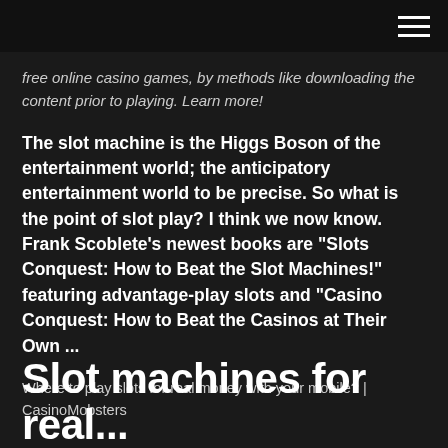☰
free online casino games, by methods like downloading the content prior to playing. Learn more!
The slot machine is the Higgs Boson of the entertainment world; the anticipatory entertainment world to be precise. So what is the point of slot play? I think we now know. Frank Scoblete's newest books are "Slots Conquest: How to Beat the Slot Machines!" featuring advantage-play slots and "Casino Conquest: How to Beat the Casinos at Their Own ...
Where to play slots for real money with your mobile? | CasinoMobsters
Slot machines for real...